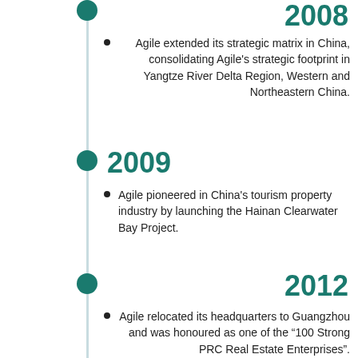2008
Agile extended its strategic matrix in China, consolidating Agile's strategic footprint in Yangtze River Delta Region, Western and Northeastern China.
2009
Agile pioneered in China's tourism property industry by launching the Hainan Clearwater Bay Project.
2012
Agile relocated its headquarters to Guangzhou and was honoured as one of the “100 Strong PRC Real Estate Enterprises”.